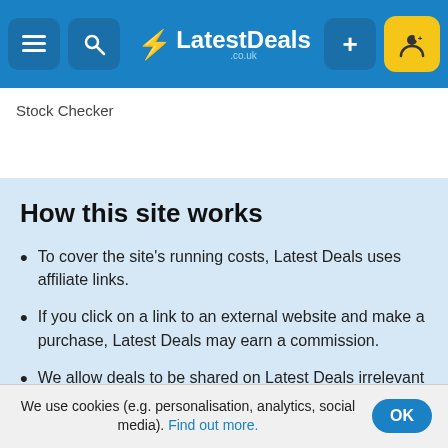LatestDeals.co.uk
Stock Checker
How this site works
To cover the site's running costs, Latest Deals uses affiliate links.
If you click on a link to an external website and make a purchase, Latest Deals may earn a commission.
We allow deals to be shared on Latest Deals irrelevant of whether or not they generate us money. Our #1 concern is helping you save money.
If you have any questions about how the site works, drop us a message. We're always happy to help.
We use cookies (e.g. personalisation, analytics, social media). Find out more.